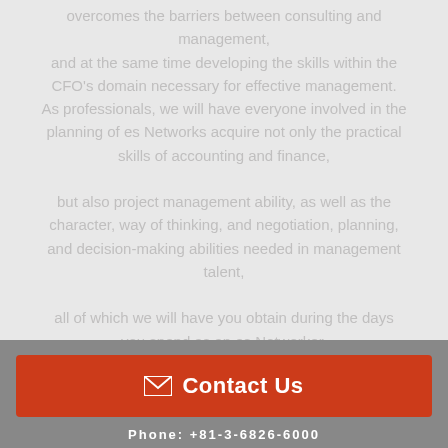overcomes the barriers between consulting and management, and at the same time developing the skills within the CFO's domain necessary for effective management. As professionals, we will have everyone involved in the planning of es Networks acquire not only the practical skills of accounting and finance, but also project management ability, as well as the character, way of thinking, and negotiation, planning, and decision-making abilities needed in management talent, all of which we will have you obtain during the days you spend as an es Networker.

Supporting managers as professionals as we develop
Contact Us
Phone: +81-3-6826-6000